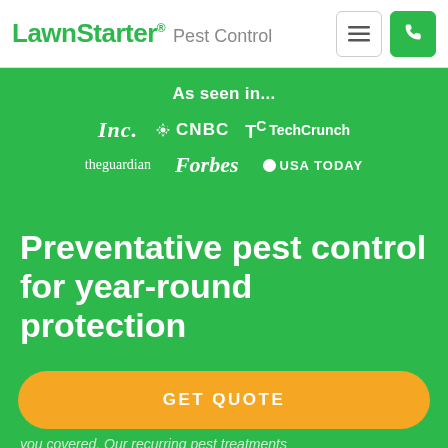LawnStarter® Pest Control
[Figure (logo): As seen in logos: Inc., CNBC, TechCrunch, theguardian, Forbes, USA TODAY on green background]
Preventative pest control for year-round protection
GET QUOTE
you covered. Our recurring pest treatments